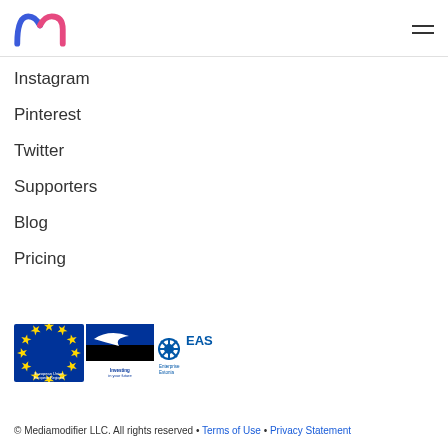Mediamodifier logo and navigation menu icon
Instagram
Pinterest
Twitter
Supporters
Blog
Pricing
[Figure (logo): EU European Regional Development Fund logo, Estonian flag Investing in your future logo, and EAS Enterprise Estonia logo]
© Mediamodifier LLC. All rights reserved • Terms of Use • Privacy Statement